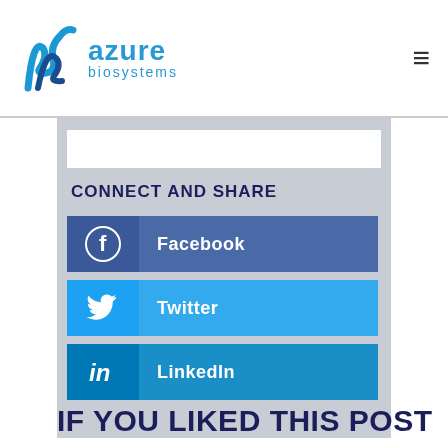azure biosystems
CONNECT AND SHARE
Facebook
Twitter
LinkedIn
IF YOU LIKED THIS POST